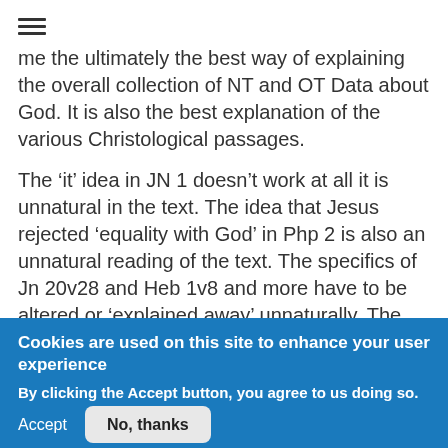[Figure (other): Hamburger menu icon (three horizontal lines)]
me the ultimately the best way of explaining the overall collection of NT and OT Data about God. It is also the best explanation of the various Christological passages.

The ‘it’ idea in JN 1 doesn’t work at all it is unnatural in the text. The idea that Jesus rejected ‘equality with God’ in Php 2 is also an unnatural reading of the text. The specifics of Jn 20v28 and Heb 1v8 and more have to be altered or ‘explained away’ unnaturally. The worship of angels in Heb 1v6 and the
Cookies are used on this site to enhance your user experience
By clicking the Accept button, you agree to us doing so.
Accept
No, thanks